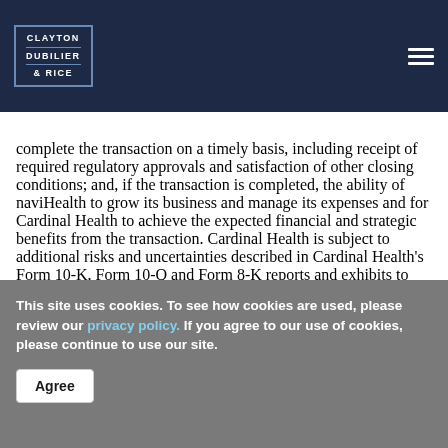CLAYTON DUBILIER & RICE
complete the transaction on a timely basis, including receipt of required regulatory approvals and satisfaction of other closing conditions; and, if the transaction is completed, the ability of naviHealth to grow its business and manage its expenses and for Cardinal Health to achieve the expected financial and strategic benefits from the transaction. Cardinal Health is subject to additional risks and uncertainties described in Cardinal Health's Form 10-K, Form 10-Q and Form 8-K reports and exhibits to those reports. This press release reflects Cardinal Health's views as of June 13, 2018. Except to the extent required by applicable law, Cardinal Health undertakes no obligation to update or revise any forward-looking statement.
This site uses cookies. To see how cookies are used, please review our privacy policy. If you agree to our use of cookies, please continue to use our site.